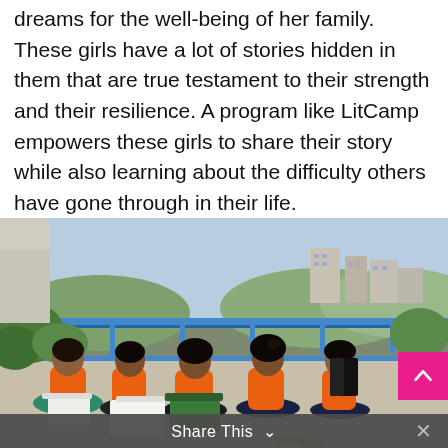dreams for the well-being of her family. These girls have a lot of stories hidden in them that are true testament to their strength and their resilience. A program like LitCamp empowers these girls to share their story while also learning about the difficulty others have gone through in their life.
[Figure (photo): A group of girls wearing orange shirts sitting outdoors on a terrace, reading and writing, with buildings and greenery visible in the background.]
Share This  ∨